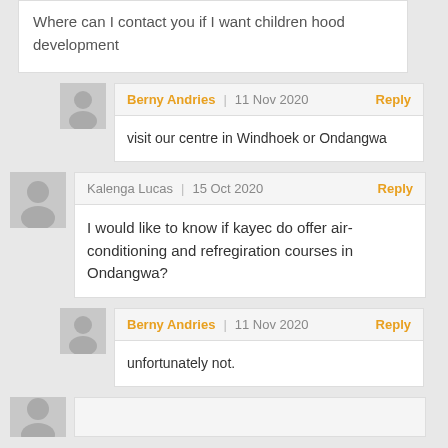Where can I contact you if I want children hood development
Berny Andries | 11 Nov 2020 Reply
visit our centre in Windhoek or Ondangwa
Kalenga Lucas | 15 Oct 2020 Reply
I would like to know if kayec do offer air-conditioning and refregiration courses in Ondangwa?
Berny Andries | 11 Nov 2020 Reply
unfortunately not.